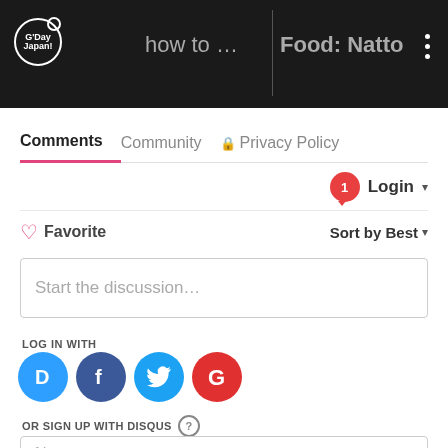[Figure (screenshot): Website header bar showing G'Day Japan! logo on left, partially visible video thumbnails with titles 'how to ...' and 'Food: Natto', and a three-dot menu icon on right]
Comments  Community  Privacy Policy
Login ▾
♡ Favorite    Sort by Best ▾
Start the discussion…
LOG IN WITH
[Figure (infographic): Social login icons: Disqus (D), Facebook (f), Twitter bird, Google (G) in circular colored buttons]
OR SIGN UP WITH DISQUS ?
Name